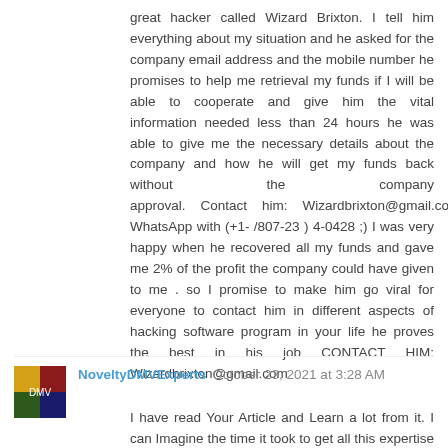great hacker called Wizard Brixton. I tell him everything about my situation and he asked for the company email address and the mobile number he promises to help me retrieval my funds if I will be able to cooperate and give him the vital information needed less than 24 hours he was able to give me the necessary details about the company and how he will get my funds back without the company approval. Contact him: Wizardbrixton@gmail.com WhatsApp with (+1- /807-23 ) 4-0428 ;) I was very happy when he recovered all my funds and gave me 2% of the profit the company could have given to me . so I promise to make him go viral for everyone to contact him in different aspects of hacking software program in your life he proves the best in his job CONTACT HIM: Wizardbrixton@gmail.com
Reply
NoveltyDMVExperts October 23, 2021 at 3:28 AM
I have read Your Article and Learn a lot from it. I can Imagine the time it took to get all this expertise exposed .